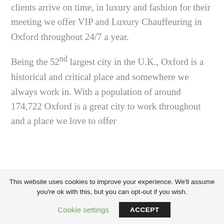clients arrive on time, in luxury and fashion for their meeting we offer VIP and Luxury Chauffeuring in Oxford throughout 24/7 a year.
Being the 52nd largest city in the U.K., Oxford is a historical and critical place and somewhere we always work in. With a population of around 174,722 Oxford is a great city to work throughout and a place we love to offer
This website uses cookies to improve your experience. We'll assume you're ok with this, but you can opt-out if you wish. Cookie settings ACCEPT